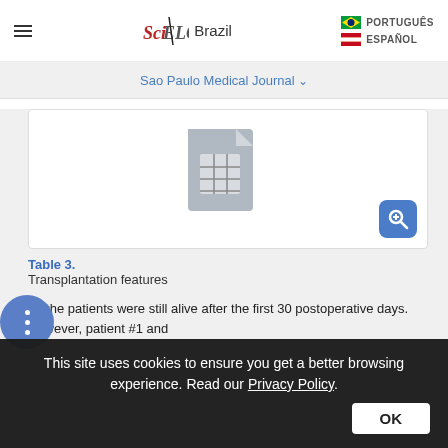SciELO Brazil | PORTUGUÊS | ESPAÑOL
Sao Paulo Medical Journal ∨
[Figure (other): Spreadsheet/table file icon (document with grid icon) with a blue magnify/zoom button overlay in the bottom right]
Table 3.
Transplantation features
All the patients were still alive after the first 30 postoperative days. However, patient #1 and
This site uses cookies to ensure you get a better browsing experience. Read our Privacy Policy.